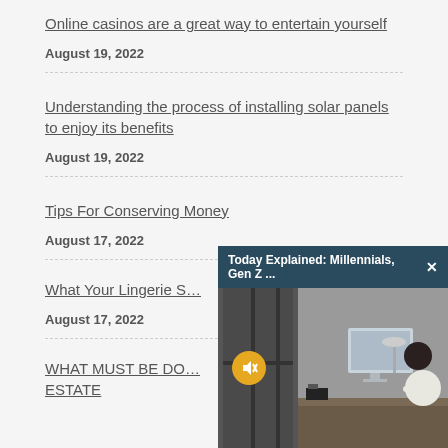Online casinos are a great way to entertain yourself
August 19, 2022
Understanding the process of installing solar panels to enjoy its benefits
August 19, 2022
Tips For Conserving Money
August 17, 2022
What Your Lingerie S...
August 17, 2022
WHAT MUST BE DO... ESTATE
[Figure (screenshot): Video popup overlay titled 'Today Explained: Millennials, Gen Z ...' with a close button (×), showing a thumbnail of a person sitting at a desk in front of a computer monitor, with a muted speaker icon (yellow circle) on the left side of the thumbnail.]